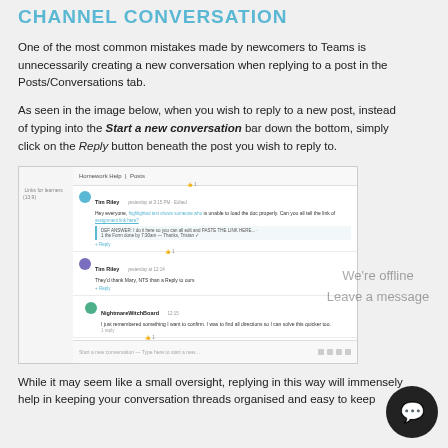CHANNEL CONVERSATION
One of the most common mistakes made by newcomers to Teams is unnecessarily creating a new conversation when replying to a post in the Posts/Conversations tab.
As seen in the image below, when you wish to reply to a new post, instead of typing into the Start a new conversation bar down the bottom, simply click on the Reply button beneath the post you wish to reply to.
[Figure (screenshot): Screenshot of Microsoft Teams channel conversation interface showing threaded replies with Reply links beneath posts and a Start a new conversation bar at the bottom.]
While it may seem like a small oversight, replying in this way will immensely help in keeping your conversation threads organised and easy to keep